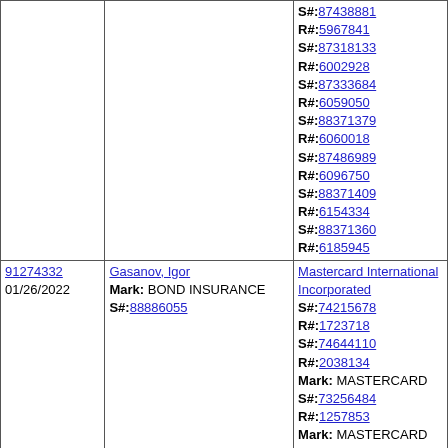|  |  | S#:87438881 R#:5967841
S#:87318133 R#:6002928
S#:87333684 R#:6059050
S#:88371379 R#:6060018
S#:87486989 R#:6096750
S#:88371409 R#:6154334
S#:88371360 R#:6185945 |
| 91274332
01/26/2022 | Gasanov, Igor
Mark: BOND INSURANCE
S#:88886055 | Mastercard International Incorporated
S#:74215678 R#:1723718
S#:74644110 R#:2038134
Mark: MASTERCARD
S#:73256484 R#:1257853
Mark: MASTERCARD
S#:74024596 R#:1814279
Mark: MASTERCARD
S#:74353604 R#:2168736
Mark: MASTERCARD TRAVELERS CHEQUE
S#:73392883 R#:1285549
Mark: CIRRUS S#:85440050 R#:4248729
Mark: CIRRUS S#:85440158 R#:4142738
S#:87708996 R#:5693000
S#:87318109 R#:5800822
S#:87318133 R#:6002928
S#:87333684 R#:6059050
S#:87486989 R#:6096750
S#:87438881 R#:5967841 |